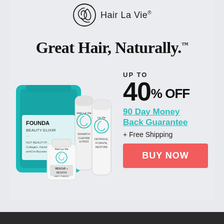[Figure (logo): Hair La Vie logo with circular swirl emblem and brand name text]
Great Hair, Naturally.™
[Figure (photo): Hair La Vie product bundle including teal pouch labeled Foundation Beauty Elixir, two tubes labeled Hair La Vie shampoo and conditioner, and a white bottle labeled Rescue + Regrow]
UP TO
40% OFF
90 Day Money Back Guarantee
+ Free Shipping
BUY NOW